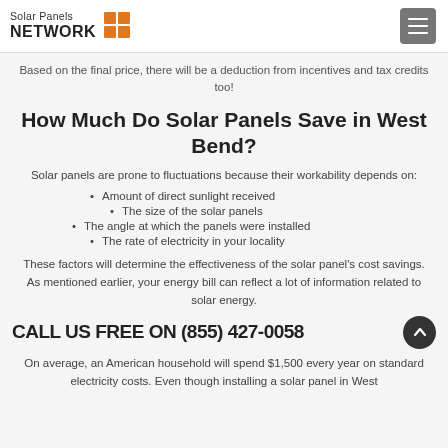Solar Panels NETWORK
Based on the final price, there will be a deduction from incentives and tax credits too!
How Much Do Solar Panels Save in West Bend?
Solar panels are prone to fluctuations because their workability depends on:
Amount of direct sunlight received
The size of the solar panels
The angle at which the panels were installed
The rate of electricity in your locality
These factors will determine the effectiveness of the solar panel's cost savings. As mentioned earlier, your energy bill can reflect a lot of information related to solar energy.
CALL US FREE ON (855) 427-0058
On average, an American household will spend $1,500 every year on standard electricity costs. Even though installing a solar panel in West